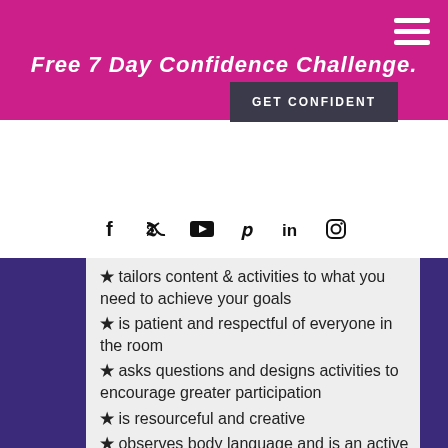Free 7 Day Confidence Challenge.
[Figure (screenshot): GET CONFIDENT button — dark grey/navy button with white text]
[Figure (logo): Samantha Leith cursive signature logo]
[Figure (infographic): Social media icons row: Facebook, Twitter, YouTube, Pinterest, LinkedIn, Instagram]
★ tailors content & activities to what you need to achieve your goals
★ is patient and respectful of everyone in the room
★ asks questions and designs activities to encourage greater participation
★ is resourceful and creative
★ observes body language and is an active listener